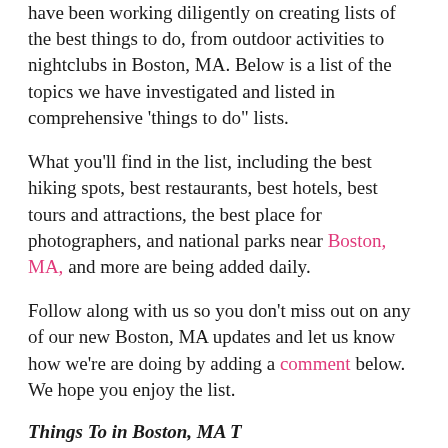have been working diligently on creating lists of the best things to do, from outdoor activities to nightclubs in Boston, MA. Below is a list of the topics we have investigated and listed in comprehensive 'things to do" lists.
What you'll find in the list, including the best hiking spots, best restaurants, best hotels, best tours and attractions, the best place for photographers, and national parks near Boston, MA, and more are being added daily.
Follow along with us so you don't miss out on any of our new Boston, MA updates and let us know how we're are doing by adding a comment below. We hope you enjoy the list.
Things To in Boston, MA T...